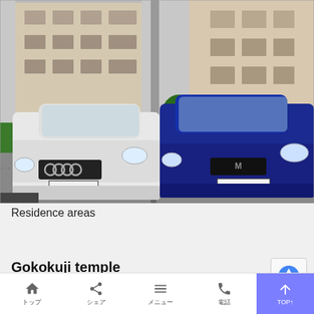[Figure (photo): Two cars parked side by side in a residential parking lot in Japan. Left car is a white Audi with license plate 17-13. Right car is a blue Mazda RX-8 with license plate 14-70. Residential apartment buildings and green hedge visible in background.]
Residence areas
Gokokuji temple
トップ シェア メニュー 電話 TOP↑